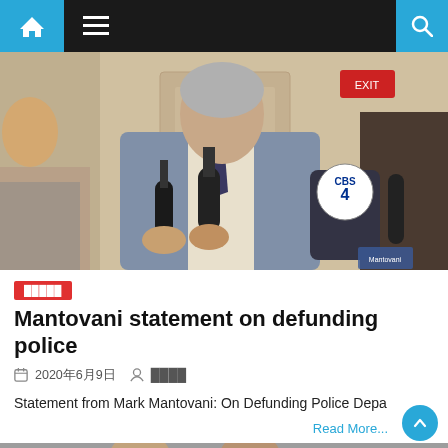Navigation bar with home, menu, and search icons
[Figure (photo): A man in a grey suit with a blue tie speaking to reporters holding microphones including a CBS 4 microphone, in what appears to be an indoor event venue]
█████
Mantovani statement on defunding police
2020年6月9日   ████
Statement from Mark Mantovani: On Defunding Police Depa
Read More...
[Figure (photo): Partial view of people at the bottom of the page, cut off]